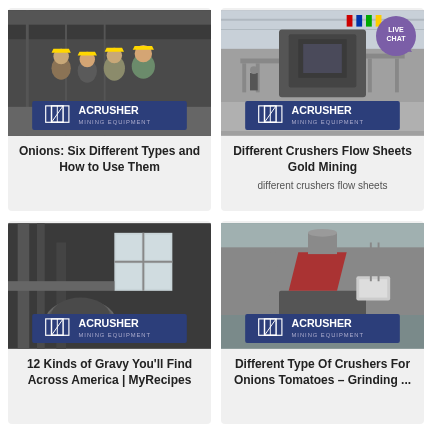[Figure (photo): Photo of four workers in hard hats standing in a mining/industrial facility, with ACRUSHER Mining Equipment logo overlay at bottom]
Onions: Six Different Types and How to Use Them
[Figure (photo): Photo of mining equipment/crushers in a large industrial warehouse, with ACRUSHER Mining Equipment logo overlay and LIVE CHAT badge]
Different Crushers Flow Sheets Gold Mining
different crushers flow sheets
[Figure (photo): Photo of industrial mining machinery interior with ACRUSHER Mining Equipment logo overlay]
12 Kinds of Gravy You'll Find Across America | MyRecipes
[Figure (photo): Photo of a cone crusher machine outdoors with ACRUSHER Mining Equipment logo overlay]
Different Type Of Crushers For Onions Tomatoes – Grinding ...